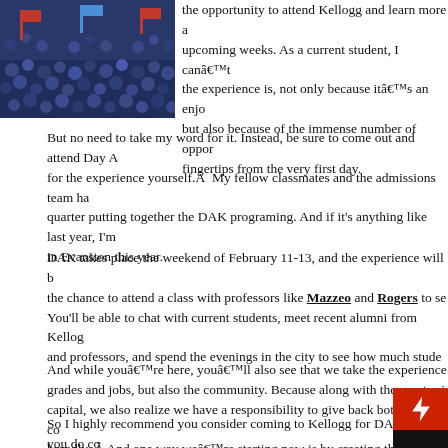[Figure (photo): Crowd of students in blue/dark clothing packed together, likely at a Kellogg event]
the opportunity to attend Kellogg and learn more a upcoming weeks. As a current student, I canâ€™t the experience is, not only because itâ€™s an enjo but also because of the immense number of oppor fingertips from the very first day.
But no need to take my word for it. Instead, be sure to come out and attend Day A for the experience yourself.Â  My fellow classmates and the admissions team ha quarter putting together the DAK programing. And if it's anything like last year, I'm in Evanston this year.
DAK takes place the weekend of February 11-13, and the experience will b the chance to attend a class with professors like Mazzeo and Rogers to se You'll be able to chat with current students, meet recent alumni from Kellog and professors, and spend the evenings in the city to see how much stude
And while youâ€™re here, youâ€™ll also see that we take the experience grades and jobs, but also the community. Because along with the great pri capital, we also realize we have a responsibility to give back both to our co broadly. Â And one way weâ€™re starting now is by creating this great weekend
So I highly recommend you consider coming to Kellogg for DAK. And if you do co here or find me in the hallways of Jacobs during the weekend.